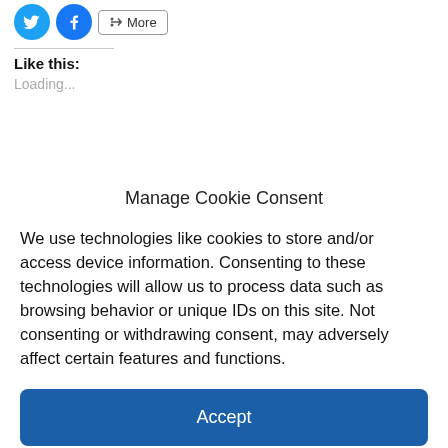[Figure (screenshot): Social share buttons: Twitter (blue bird icon), Facebook (blue f icon), and a More button with share icon]
Like this:
Loading...
Manage Cookie Consent
We use technologies like cookies to store and/or access device information. Consenting to these technologies will allow us to process data such as browsing behavior or unique IDs on this site. Not consenting or withdrawing consent, may adversely affect certain features and functions.
Accept
Cookie Policy